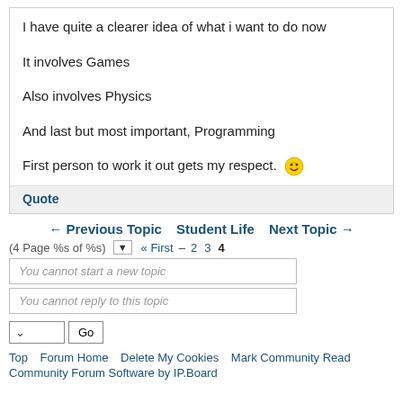I have quite a clearer idea of what i want to do now

It involves Games

Also involves Physics

And last but not most important, Programming

First person to work it out gets my respect. 😎
Quote
← Previous Topic   Student Life   Next Topic →
(4 Page %s of %s) ▼  « First  –  2  3  4
You cannot start a new topic
You cannot reply to this topic
Top  Forum Home  Delete My Cookies  Mark Community Read
Community Forum Software by IP.Board